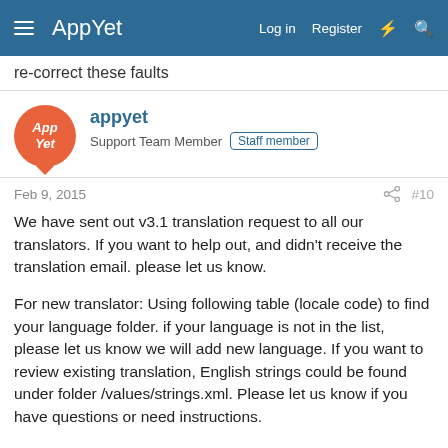AppYet — Log in  Register
re-correct these faults
appyet
Support Team Member  Staff member
Feb 9, 2015  #10
We have sent out v3.1 translation request to all our translators. If you want to help out, and didn't receive the translation email. please let us know.

For new translator: Using following table (locale code) to find your language folder. if your language is not in the list, please let us know we will add new language. If you want to review existing translation, English strings could be found under folder /values/strings.xml. Please let us know if you have questions or need instructions.